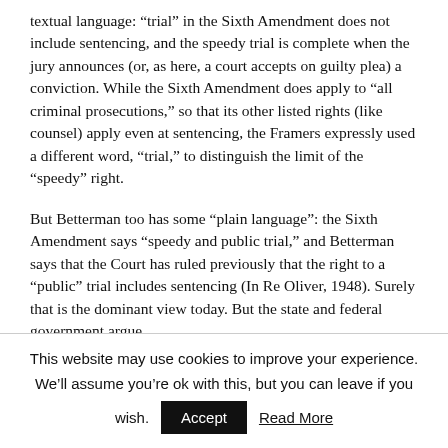textual language: “trial” in the Sixth Amendment does not include sentencing, and the speedy trial is complete when the jury announces (or, as here, a court accepts on guilty plea) a conviction. While the Sixth Amendment does apply to “all criminal prosecutions,” so that its other listed rights (like counsel) apply even at sentencing, the Framers expressly used a different word, “trial,” to distinguish the limit of the “speedy” right.
But Betterman too has some “plain language”: the Sixth Amendment says “speedy and public trial,” and Betterman says that the Court has ruled previously that the right to a “public” trial includes sentencing (In Re Oliver, 1948). Surely that is the dominant view today. But the state and federal government argue
This website may use cookies to improve your experience. We’ll assume you’re ok with this, but you can leave if you wish.